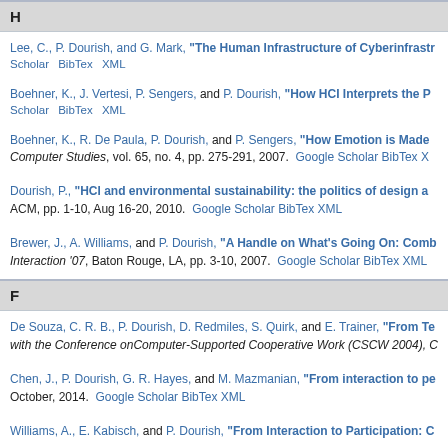H
Lee, C., P. Dourish, and G. Mark, "The Human Infrastructure of Cyberinfrastr...". Google Scholar BibTex XML
Boehner, K., J. Vertesi, P. Sengers, and P. Dourish, "How HCI Interprets the P...". Google Scholar BibTex XML
Boehner, K., R. De Paula, P. Dourish, and P. Sengers, "How Emotion is Made...". Computer Studies, vol. 65, no. 4, pp. 275-291, 2007. Google Scholar BibTex X
Dourish, P., "HCI and environmental sustainability: the politics of design a...". ACM, pp. 1-10, Aug 16-20, 2010. Google Scholar BibTex XML
Brewer, J., A. Williams, and P. Dourish, "A Handle on What's Going On: Comb...". Interaction '07, Baton Rouge, LA, pp. 3-10, 2007. Google Scholar BibTex XML
F
De Souza, C. R. B., P. Dourish, D. Redmiles, S. Quirk, and E. Trainer, "From Te...". with the Conference onComputer-Supported Cooperative Work (CSCW 2004), C
Chen, J., P. Dourish, G. R. Hayes, and M. Mazmanian, "From interaction to pe...". October, 2014. Google Scholar BibTex XML
Williams, A., E. Kabisch, and P. Dourish, "From Interaction to Participation: C..."